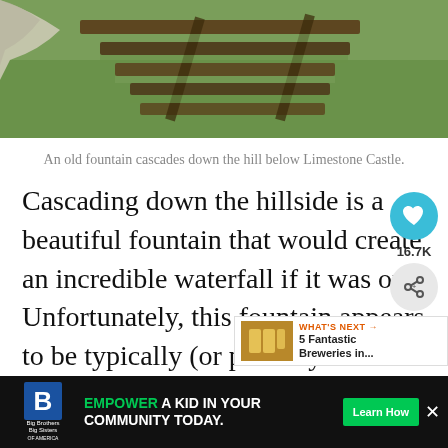[Figure (photo): An old stone fountain with cascading steps covered in grass and wooden railroad-tie steps running down a hillside below Limestone Castle.]
An old fountain cascades down the hill below Limestone Castle.
Cascading down the hillside is a beautiful fountain that would create an incredible waterfall if it was on. Unfortunately, this fountain appears to be typically (or possibly permanently) turned off. While it's still a t...
[Figure (other): Social interaction bar with heart/like button showing 16.7K count and a share button.]
[Figure (other): What's Next panel showing a thumbnail of beer glasses and text: 5 Fantastic Breweries in...]
[Figure (other): Advertisement banner: Big Brothers Big Sisters logo. EMPOWER A KID IN YOUR COMMUNITY TODAY. Learn How button.]